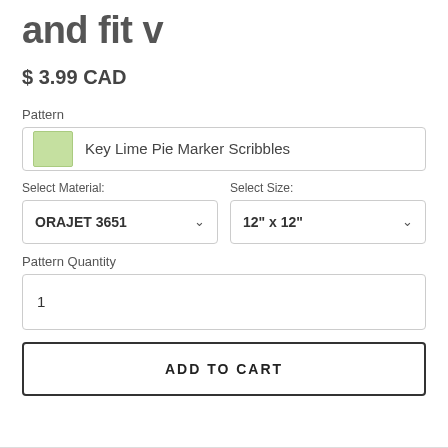and fit v
$ 3.99 CAD
Pattern
Key Lime Pie Marker Scribbles
Select Material:
Select Size:
ORAJET 3651
12" x 12"
Pattern Quantity
1
ADD TO CART